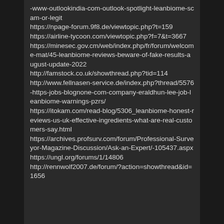-www-outlookindia-com-outlook-spotlight-leanbiome-scam-or-legit
https://npage-forum.9f8.de/viewtopic.php?t=159
https://airline-tycoon.com/viewtopic.php?f=7&t=3667
https://minesec.gov.cm/web/index.php/fr/forum/welcome-mat/45-leanbiome-reviews-beware-of-fake-results-august-update-2022
http://famstock.co.uk/showthread.php?tid=114
http://www.fellnasen-service.de/index.php?thread/5576-https-jobs-blognone-com-company-eraldhun-lee-job-leanbiome-warnings-pzrs/
https://itokam.com/read-blog/5306_leanbiome-honest-reviews-us-uk-effective-ingredients-what-are-real-customers-say.html
https://archives.profsurv.com/forum/Professional-Surveyor-Magazine-Discussion/Ask-an-Expert/-105437.aspx
https://ungl.org/forums/1/14806
http://rennwolf2007.de/forum/?action=showthread&id=1656